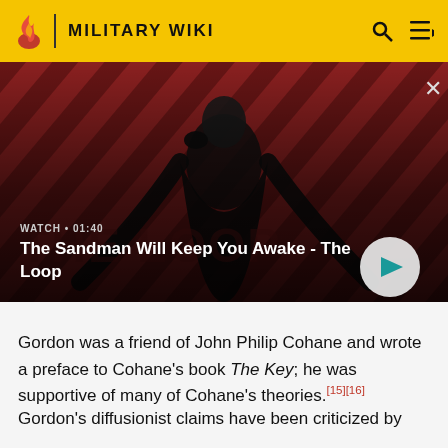MILITARY WIKI
[Figure (screenshot): Video thumbnail showing a man in black with a raven on his shoulder against a red diagonal striped background. Overlay text: WATCH • 01:40, The Sandman Will Keep You Awake - The Loop. Play button on the right.]
Gordon was a friend of John Philip Cohane and wrote a preface to Cohane's book The Key; he was supportive of many of Cohane's theories.[15][16]
Gordon's diffusionist claims have been criticized by